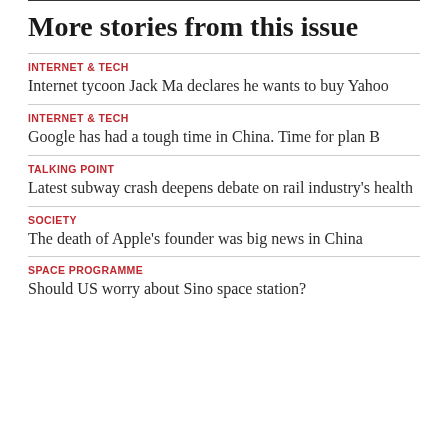More stories from this issue
INTERNET & TECH
Internet tycoon Jack Ma declares he wants to buy Yahoo
INTERNET & TECH
Google has had a tough time in China. Time for plan B
TALKING POINT
Latest subway crash deepens debate on rail industry's health
SOCIETY
The death of Apple's founder was big news in China
SPACE PROGRAMME
Should US worry about Sino space station?